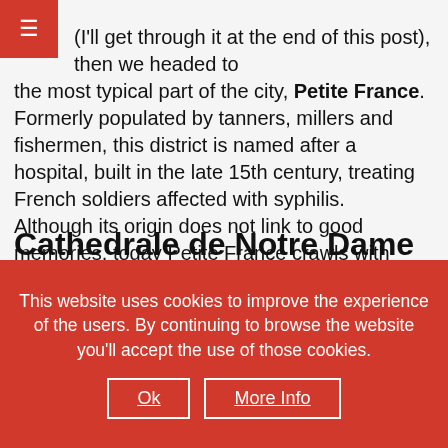(I'll get through it at the end of this post), then we headed to the most typical part of the city, Petite France. Formerly populated by tanners, millers and fishermen, this district is named after a hospital, built in the late 15th century, treating French soldiers affected with syphilis. Although its origin does not link to good memories, today Petite France crawls with tourists, locals and photographers looking for the best point of view to snap a picture. The houses, in fact, perfectly suit this purpose: half-timbered, coloured, some of them still decorated since last Christmas, often reflecting in the canals. Too pretty! 😍
Cathedrale de Notre Dame de Strasbourg
This website uses cookies to improve the experience of the users. By continuing to browse the website you'll accept the use of those cookies.